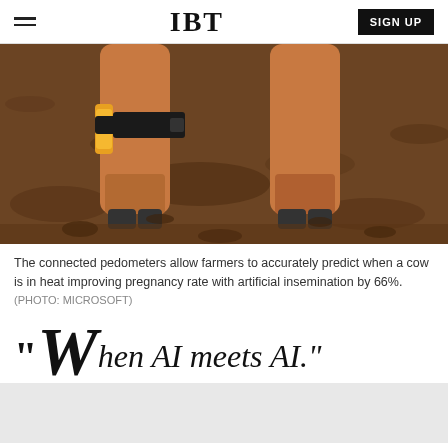IBT
[Figure (photo): Close-up photo of a cow's lower legs on dirt ground, with a black strap/pedometer device fitted around one leg, with an orange/yellow component visible.]
The connected pedometers allow farmers to accurately predict when a cow is in heat improving pregnancy rate with artificial insemination by 66%. (PHOTO: MICROSOFT)
"When AI meets AI."